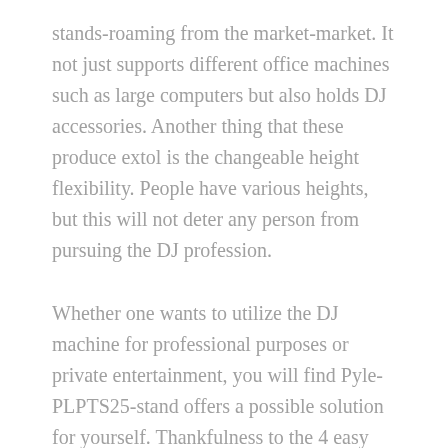stands-roaming from the market-market. It not just supports different office machines such as large computers but also holds DJ accessories. Another thing that these produce extol is the changeable height flexibility. People have various heights, but this will not deter any person from pursuing the DJ profession.
Whether one wants to utilize the DJ machine for professional purposes or private entertainment, you will find Pyle-PLPTS25-stand offers a possible solution for yourself. Thankfulness to the 4 easy marks it up to length adjustments. Besides, it keeps up to eight lbs. and is agreeable with EFX-machine CD-players, lighting-controllers among other different machines.